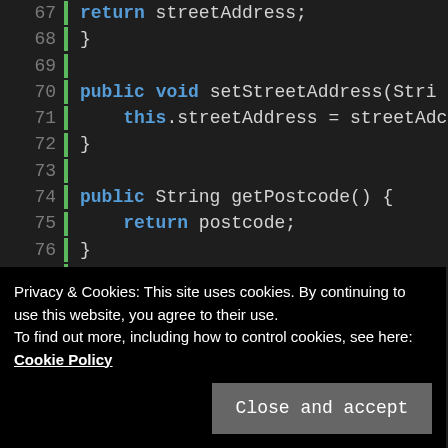[Figure (screenshot): Java source code snippet showing getter and setter methods for streetAddress and postcode fields, and beginning of getEmergencyContacts method. Lines 67-83 visible with green bar on left margin. Dark IDE theme.]
Privacy & Cookies: This site uses cookies. By continuing to use this website, you agree to their use.
To find out more, including how to control cookies, see here: Cookie Policy